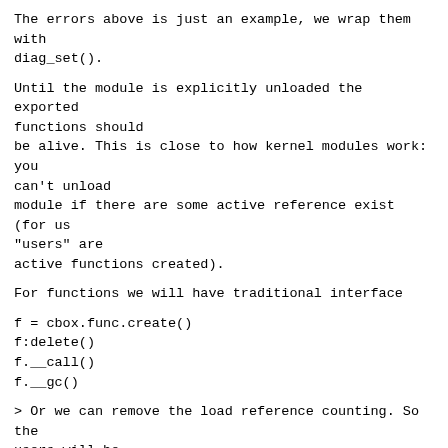The errors above is just an example, we wrap them with diag_set().
Until the module is explicitly unloaded the exported functions should be alive. This is close to how kernel modules work: you can't unload module if there are some active reference exist (for us "users" are active functions created).
For functions we will have traditional interface
f = cbox.func.create()
f:delete()
f.__call()
f.__gc()
> Or we can remove the load reference counting. So the users will be
> forced not to call it too often and track the usages more carefully.
> Or load the functions one time in a global namespace, and unload them
> also only one time when the script is re-loaded, for example.
>
> I advise to ask somebody who uses C stored functions in real code,
> how is it usually handled. Solution team should have